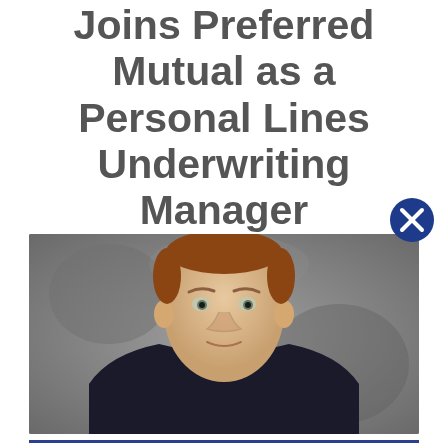Joins Preferred Mutual as a Personal Lines Underwriting Manager
[Figure (photo): Professional headshot of a middle-aged man with short reddish-brown hair, wearing a dark suit jacket and light checkered shirt, photographed against a grey textured background.]
Maezler brings more than 17 years of underwriting